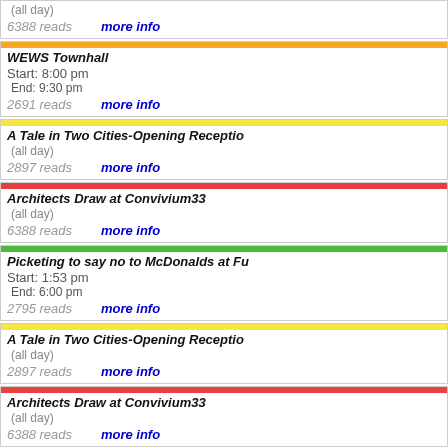(all day)
6388 reads   more info
WEWS Townhall
Start: 8:00 pm
End: 9:30 pm
2691 reads   more info
A Tale in Two Cities-Opening Reception
(all day)
2897 reads   more info
Architects Draw at Convivium33
(all day)
6388 reads   more info
Picketing to say no to McDonalds at Fu
Start: 1:53 pm
End: 6:00 pm
2795 reads   more info
A Tale in Two Cities-Opening Reception
(all day)
2897 reads   more info
Architects Draw at Convivium33
(all day)
6388 reads   more info
A Tale in Two Cities-Opening Reception
(all day)